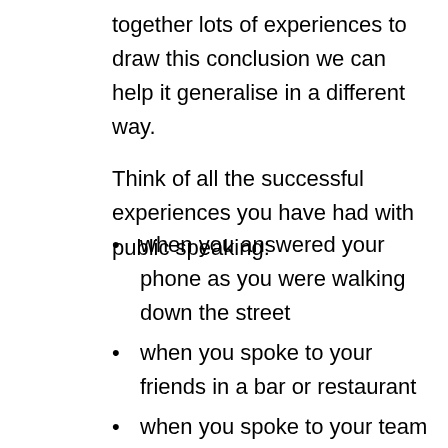together lots of experiences to draw this conclusion we can help it generalise in a different way.
Think of all the successful experiences you have had with public speaking:
when you answered your phone as you were walking down the street
when you spoke to your friends in a bar or restaurant
when you spoke to your team in a